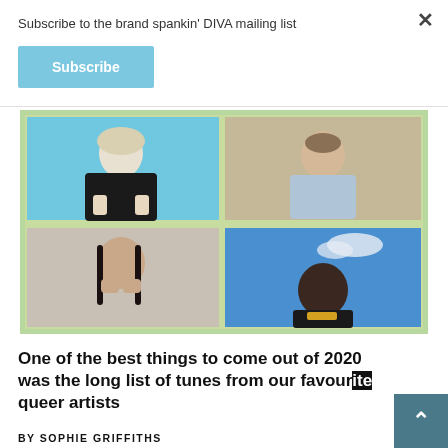Subscribe to the brand spankin' DIVA mailing list
Subscribe
[Figure (photo): A 2x2 photo grid showing four queer artists: top-left a blonde woman in black against a blue background making hand gestures; top-right a short-haired person in a denim jacket against a beige background; bottom-left an Asian woman with long dark hair resting her hands on her face; bottom-right a Black woman against a blue sky with clouds wearing a yellow-accented black top.]
One of the best things to come out of 2020 was the long list of tunes from our favourite queer artists
BY SOPHIE GRIFFITHS